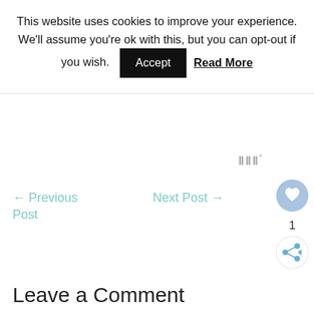This website uses cookies to improve your experience. We'll assume you're ok with this, but you can opt-out if you wish. Accept Read More
← Previous Post
Next Post →
1
Leave a Comment